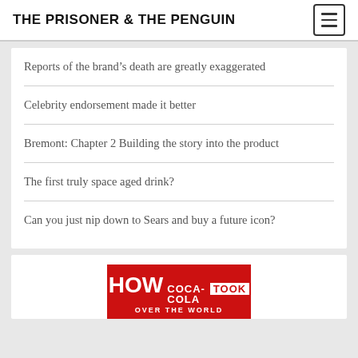THE PRISONER & THE PENGUIN
Reports of the brand's death are greatly exaggerated
Celebrity endorsement made it better
Bremont: Chapter 2 Building the story into the product
The first truly space aged drink?
Can you just nip down to Sears and buy a future icon?
[Figure (photo): Book cover showing 'HOW COCA-COLA TOOK OVER THE WORLD' in red and white text on a red background]